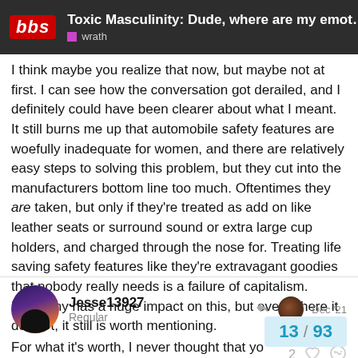Toxic Masculinity: Dude, where are my emot... | wrath
I think maybe you realize that now, but maybe not at first. I can see how the conversation got derailed, and I definitely could have been clearer about what I meant. It still burns me up that automobile safety features are woefully inadequate for women, and there are relatively easy steps to solving this problem, but they cut into the manufacturers bottom line too much. Oftentimes they are taken, but only if they're treated as add on like leather seats or surround sound or extra large cup holders, and charged through the nose for. Treating life saving safety features like they're extravagant goodies that nobody really needs is a failure of capitalism. Misogyny has a huge impact on this, but even where it doesn't, it still is worth mentioning.
Jesse13927
Regular
Dec '21
For what it's worth, I never thought that yo
13 / 93